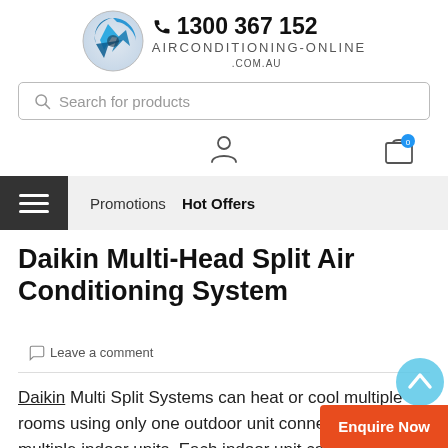[Figure (logo): Airconditioning-online.com.au logo with blue triangular swirl icon, phone number 1300 367 152, and brand name AIRCONDITIONING-ONLINE.COM.AU]
Search for products
[Figure (infographic): User account icon (person silhouette) and shopping cart icon with blue badge showing 0]
Promotions   Hot Offers
Daikin Multi-Head Split Air Conditioning System
Leave a comment
Daikin Multi Split Systems can heat or cool multiple rooms using only one outdoor unit connected to multiple indoor units. Each indoor unit can individually controlled, scheduled, and set to the
Enquire Now